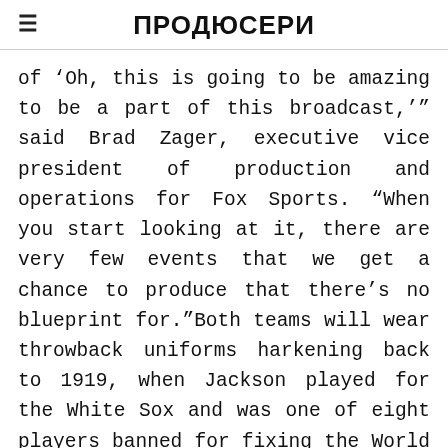ПРОДЮСЕРИ
of ‘Oh, this is going to be amazing to be a part of this broadcast,’” said Brad Zager, executive vice president of production and operations for Fox Sports. “When you start looking at it, there are very few events that we get a chance to produce that there’s no blueprint for.”Both teams will wear throwback uniforms harkening back to 1919, when Jackson played for the White Sox and was one of eight players banned for fixing the World Series. The history of that team is one of the many themes woven into a film that transcends sports.FILE – In this June 5,